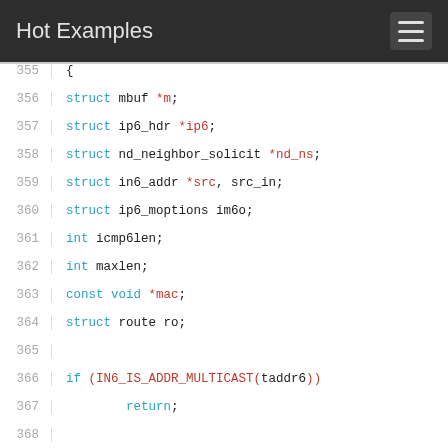Hot Examples
355  {
356      struct mbuf *m;
357      struct ip6_hdr *ip6;
358      struct nd_neighbor_solicit *nd_ns;
359      struct in6_addr *src, src_in;
360      struct ip6_moptions im6o;
361      int icmp6len;
362      int maxlen;
363      const void *mac;
364      struct route ro;
365
366      if (IN6_IS_ADDR_MULTICAST(taddr6))
367          return;
368
369      memset(&ro, 0, sizeof(ro));
370
371      /* estimate the size of message */
372      maxlen = sizeof(*ip6) + sizeof(*nd_ns);
373      maxlen += (sizeof(struct nd_opt_hdr) +